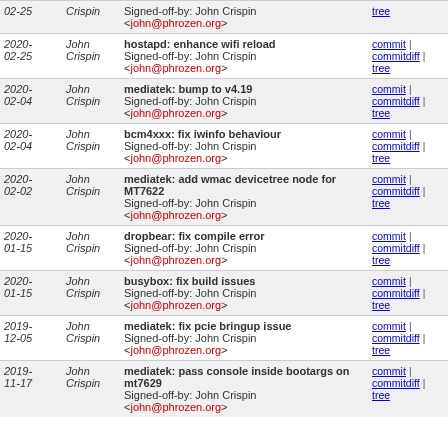| Date | Author | Commit Message | Links |
| --- | --- | --- | --- |
| 2020-02-25 | John Crispin | Signed-off-by: John Crispin <john@phrozen.org> | commit | commitdiff | tree |
| 2020-02-25 | John Crispin | hostapd: enhance wifi reload
Signed-off-by: John Crispin <john@phrozen.org> | commit | commitdiff | tree |
| 2020-02-04 | John Crispin | mediatek: bump to v4.19
Signed-off-by: John Crispin <john@phrozen.org> | commit | commitdiff | tree |
| 2020-02-04 | John Crispin | bcm4xxx: fix iwinfo behaviour
Signed-off-by: John Crispin <john@phrozen.org> | commit | commitdiff | tree |
| 2020-02-02 | John Crispin | mediatek: add wmac devicetree node for MT7622
Signed-off-by: John Crispin <john@phrozen.org> | commit | commitdiff | tree |
| 2020-01-15 | John Crispin | dropbear: fix compile error
Signed-off-by: John Crispin <john@phrozen.org> | commit | commitdiff | tree |
| 2020-01-15 | John Crispin | busybox: fix build issues
Signed-off-by: John Crispin <john@phrozen.org> | commit | commitdiff | tree |
| 2019-12-05 | John Crispin | mediatek: fix pcie bringup issue
Signed-off-by: John Crispin <john@phrozen.org> | commit | commitdiff | tree |
| 2019-11-17 | John Crispin | mediatek: pass console inside bootargs on mt7629
Signed-off-by: John Crispin <john@phrozen.org> | commit | commitdiff | tree |